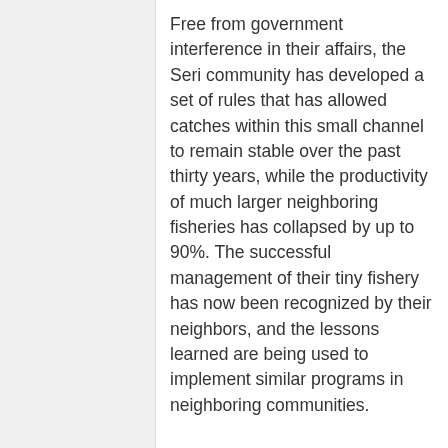Free from government interference in their affairs, the Seri community has developed a set of rules that has allowed catches within this small channel to remain stable over the past thirty years, while the productivity of much larger neighboring fisheries has collapsed by up to 90%. The successful management of their tiny fishery has now been recognized by their neighbors, and the lessons learned are being used to implement similar programs in neighboring communities.

Though several different